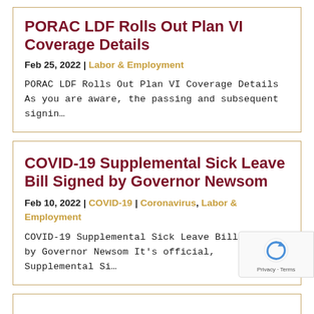PORAC LDF Rolls Out Plan VI Coverage Details
Feb 25, 2022 | Labor & Employment
PORAC LDF Rolls Out Plan VI Coverage Details As you are aware, the passing and subsequent signin…
COVID-19 Supplemental Sick Leave Bill Signed by Governor Newsom
Feb 10, 2022 | COVID-19 | Coronavirus, Labor & Employment
COVID-19 Supplemental Sick Leave Bill Signed by Governor Newsom It's official, Supplemental Si…